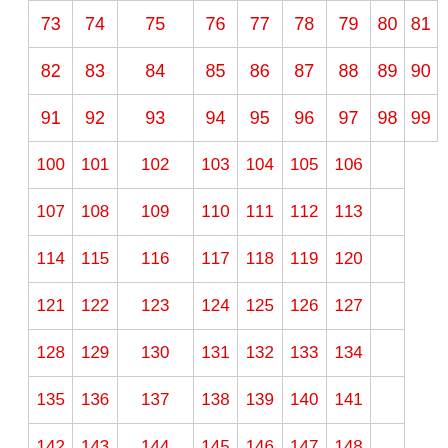| 73 | 74 | 75 | 76 | 77 | 78 | 79 | 80 | 81 |
| 82 | 83 | 84 | 85 | 86 | 87 | 88 | 89 | 90 |
| 91 | 92 | 93 | 94 | 95 | 96 | 97 | 98 | 99 |
| 100 | 101 | 102 | 103 | 104 | 105 | 106 |  |  |
| 107 | 108 | 109 | 110 | 111 | 112 | 113 |  |  |
| 114 | 115 | 116 | 117 | 118 | 119 | 120 |  |  |
| 121 | 122 | 123 | 124 | 125 | 126 | 127 |  |  |
| 128 | 129 | 130 | 131 | 132 | 133 | 134 |  |  |
| 135 | 136 | 137 | 138 | 139 | 140 | 141 |  |  |
| 142 | 143 | 144 | 145 | 146 | 147 | 148 |  |  |
| 149 | 150 | Next » |  |  |  |  |  |  |